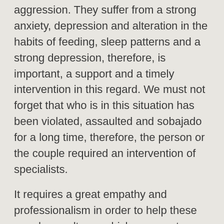aggression. They suffer from a strong anxiety, depression and alteration in the habits of feeding, sleep patterns and a strong depression, therefore, is important, a support and a timely intervention in this regard. We must not forget that who is in this situation has been violated, assaulted and sobajado for a long time, therefore, the person or the couple required an intervention of specialists.
It requires a great empathy and professionalism in order to help these people. c voltage, which means stress and a sense of unreality. They have been victims of a continuing permanent violence, their lives have gone out of control. And just they are starting a recovery process. d the cognitive sphere has also been affected, they can not pay attention, his concentration level is low, the memory is altered. Confusion dominates the picture. Violence in the